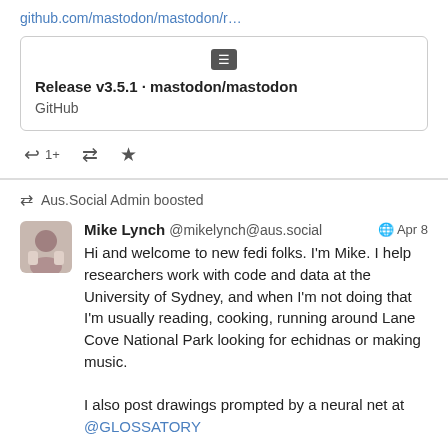github.com/mastodon/mastodon/r…
[Figure (screenshot): GitHub link preview card showing 'Release v3.5.1 · mastodon/mastodon' with GitHub label]
↩ 1+  ⟳  ★
Aus.Social Admin boosted
Mike Lynch @mikelynch@aus.social  🌐 Apr 8
Hi and welcome to new fedi folks. I'm Mike. I help researchers work with code and data at the University of Sydney, and when I'm not doing that I'm usually reading, cooking, running around Lane Cove National Park looking for echidnas or making music.

I also post drawings prompted by a neural net at @GLOSSATORY

Hope you like it here.